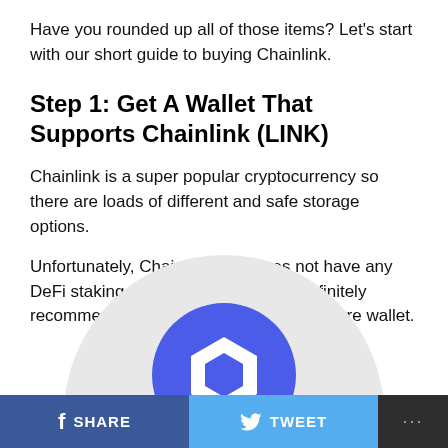Have you rounded up all of those items? Let's start with our short guide to buying Chainlink.
Step 1: Get A Wallet That Supports Chainlink (LINK)
Chainlink is a super popular cryptocurrency so there are loads of different and safe storage options.
Unfortunately, Chainlink itself does not have any DeFi staking capabilities so I would definitely recommend storing the coins on a hardware wallet.
[Figure (logo): Chainlink logo — blue circular icon with a house/hexagon symbol, partially visible at bottom of page on a light grey circular background]
SHARE   TWEET   ...